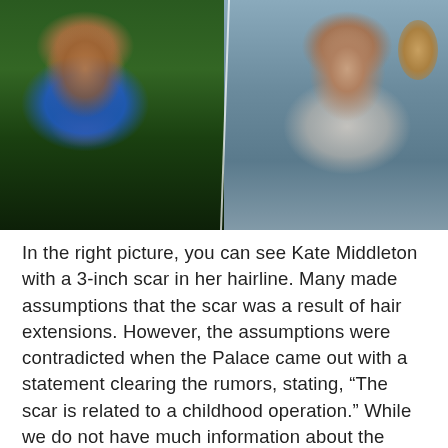[Figure (photo): Two side-by-side photos of Kate Middleton. Left photo shows her in a blue long-sleeve dress smiling, with green foliage background. Right photo shows her in a silver/white gown at a formal event, laughing, with a golden decorative wall piece in background.]
In the right picture, you can see Kate Middleton with a 3-inch scar in her hairline. Many made assumptions that the scar was a result of hair extensions. However, the assumptions were contradicted when the Palace came out with a statement clearing the rumors, stating, “The scar is related to a childhood operation.” While we do not have much information about the “childhood operation”, we sure do know that the Duchess